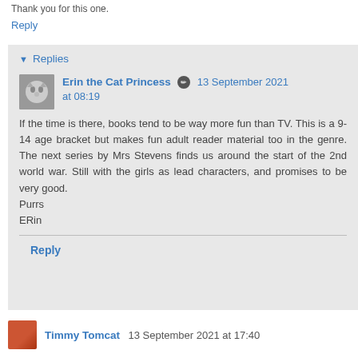Thank you for this one.
Reply
Replies
Erin the Cat Princess  13 September 2021 at 08:19
If the time is there, books tend to be way more fun than TV. This is a 9-14 age bracket but makes fun adult reader material too in the genre. The next series by Mrs Stevens finds us around the start of the 2nd world war. Still with the girls as lead characters, and promises to be very good.
Purrs
ERin
Reply
Timmy Tomcat  13 September 2021 at 17:40